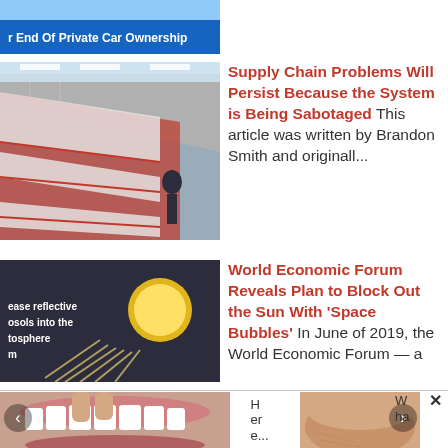[Figure (screenshot): Blue banner with white text: 'r End Of Private Car Ownership']
[Figure (photo): Empty supermarket shelves with a person standing at the end of the aisle]
Supply Chain Problems Will Persist Because the System is Being Sabotaged This article was written by Brandon Smith and originall...
[Figure (photo): Diagram showing sun rays and text about releasing reflective aerosols into the atmosphere]
World Economic Forum Reveals Plan to Block Out the Sun With 'Space Bubbles' In June of 2019, the World Economic Forum — a
[Figure (photo): Close-up of teeth and mouth with text 'Here...']
[Figure (photo): Close-up of chin/face with text 'Wha']
[Figure (screenshot): Social share bar with Facebook, Twitter, Snapchat, VK, and share icons]